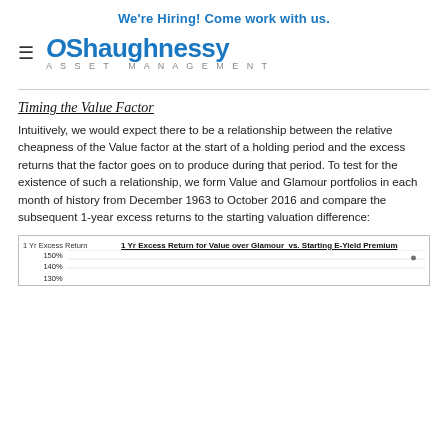We're Hiring! Come work with us.
[Figure (logo): O'Shaughnessy Asset Management logo with hamburger menu icon]
Timing the Value Factor
Intuitively, we would expect there to be a relationship between the relative cheapness of the Value factor at the start of a holding period and the excess returns that the factor goes on to produce during that period. To test for the existence of such a relationship, we form Value and Glamour portfolios in each month of history from December 1963 to October 2016 and compare the subsequent 1-year excess returns to the starting valuation difference:
[Figure (scatter-plot): Scatter plot showing 1-year excess return for Value over Glamour vs. Starting E-Yield Premium, with y-axis showing 150%, 140%, 130% visible at top]